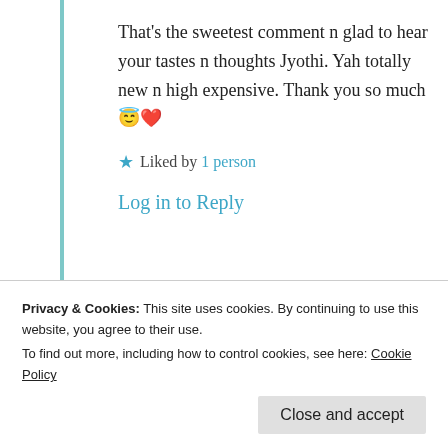That's the sweetest comment n glad to hear your tastes n thoughts Jyothi. Yah totally new n high expensive. Thank you so much 😇❤
★ Liked by 1 person
Log in to Reply
[Figure (photo): Nested comment block with avatar photo of Siva jyothi]
Privacy & Cookies: This site uses cookies. By continuing to use this website, you agree to their use. To find out more, including how to control cookies, see here: Cookie Policy
Close and accept